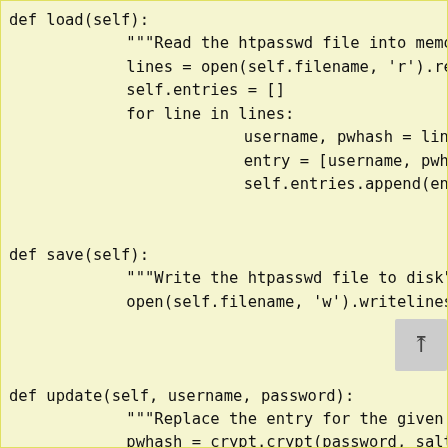def load(self):
    """Read the htpasswd file into memory."""
    lines = open(self.filename, 'r').readlin
    self.entries = []
    for line in lines:
        username, pwhash = line.split(':')
        entry = [username, pwhash.rstrip()]
        self.entries.append(entry)

def save(self):
    """Write the htpasswd file to disk"""
    open(self.filename, 'w').writelines(["%s
                                for

def update(self, username, password):
    """Replace the entry for the given
    pwhash = crypt.crypt(password, salt())